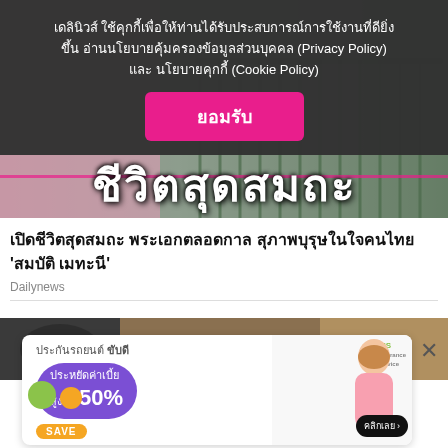เดลินิวส์ ใช้คุกกี้เพื่อให้ท่านได้รับประสบการณ์การใช้งานที่ดียิ่งขึ้น อ่านนโยบายคุ้มครองข้อมูลส่วนบุคคล (Privacy Policy) และ นโยบายคุกกี้ (Cookie Policy)
ยอมรับ
[Figure (photo): Hero image with Thai text overlay 'ชีวิตสุดสมถะ' on background image of a building with gate]
เปิดชีวิตสุดสมถะ พระเอกตลอดกาล สุภาพบุรุษในใจคนไทย 'สมบัติ เมทะนี'
Dailynews
[Figure (photo): Partial image strip showing interior of a car and brown/sandy surface]
[Figure (infographic): Advertisement banner for car insurance (ประกันรถยนต์ ขับดี) with AIS logo, showing savings up to 50% (สูงสุด 50% SAVE) with woman and decorative circles. Has close button X and click button คลิกเลย.]